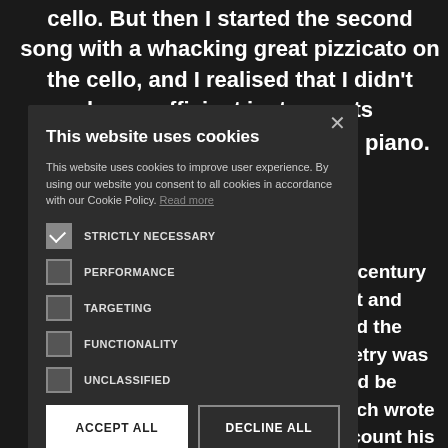cello. But then I started the second song with a whacking great pizzicato on the cello, and I realised that I didn't have sufficient instruments nd piano.
he-century met and sted the poetry was ould be ovich wrote account his e broke his omposer- n a stellar povich and photograph
This website uses cookies
This website uses cookies to improve user experience. By using our website you consent to all cookies in accordance with our Cookie Policy. Read more
STRICTLY NECESSARY
PERFORMANCE
TARGETING
FUNCTIONALITY
UNCLASSIFIED
ACCEPT ALL
DECLINE ALL
SHOW DETAILS